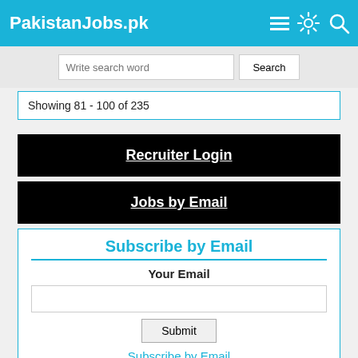PakistanJobs.pk
Write search word
Showing 81 - 100 of 235
Recruiter Login
Jobs by Email
Subscribe by Email
Your Email
Subscribe by Email
[Figure (other): FeedBurner badge showing 112 readers]
Government Jobs